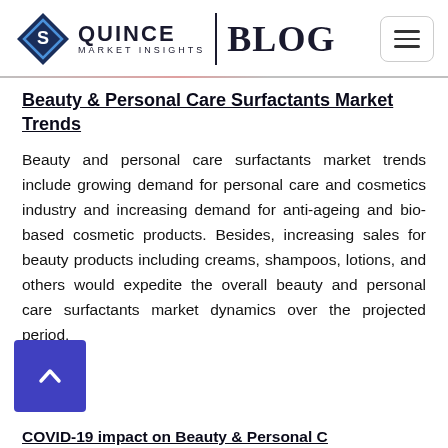Quince Market Insights | BLOG
Beauty & Personal Care Surfactants Market Trends
Beauty and personal care surfactants market trends include growing demand for personal care and cosmetics industry and increasing demand for anti-ageing and bio-based cosmetic products. Besides, increasing sales for beauty products including creams, shampoos, lotions, and others would expedite the overall beauty and personal care surfactants market dynamics over the projected period.
COVID-19 impact on Beauty & Personal C...